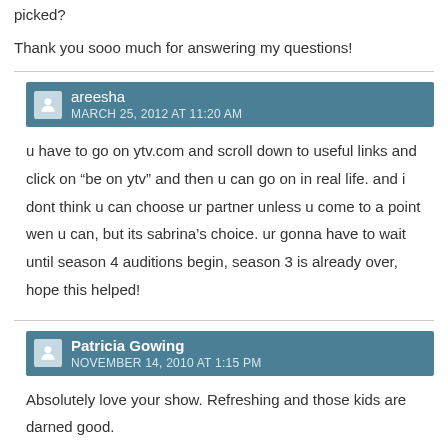picked?
Thank you sooo much for answering my questions!
areesha
MARCH 25, 2012 AT 11:20 AM
u have to go on ytv.com and scroll down to useful links and click on “be on ytv” and then u can go on in real life. and i dont think u can choose ur partner unless u come to a point wen u can, but its sabrina’s choice. ur gonna have to wait until season 4 auditions begin, season 3 is already over, hope this helped!
Patricia Gowing
NOVEMBER 14, 2010 AT 1:15 PM
Absolutely love your show. Refreshing and those kids are darned good.